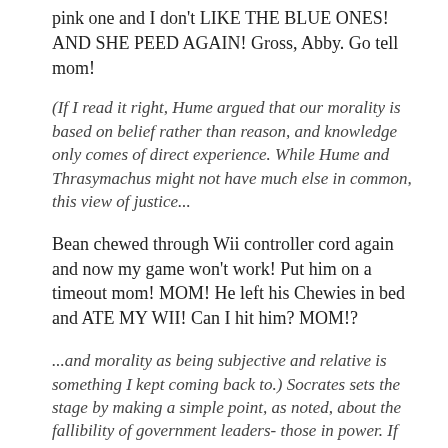pink one and I don't LIKE THE BLUE ONES! AND SHE PEED AGAIN! Gross, Abby. Go tell mom!
(If I read it right, Hume argued that our morality is based on belief rather than reason, and knowledge only comes of direct experience. While Hume and Thrasymachus might not have much else in common, this view of justice...
Bean chewed through Wii controller cord again and now my game won't work! Put him on a timeout mom! MOM! He left his Chewies in bed and ATE MY WII! Can I hit him? MOM!?
...and morality as being subjective and relative is something I kept coming back to.) Socrates sets the stage by making a simple point, as noted, about the fallibility of government leaders- those in power.  If those in power are those who have morality vis a vis